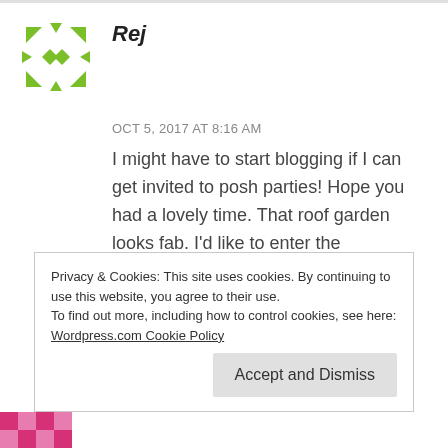[Figure (logo): Green star/sparkle avatar icon for commenter Rej]
Rej
OCT 5, 2017 AT 8:16 AM
I might have to start blogging if I can get invited to posh parties! Hope you had a lovely time. That roof garden looks fab. I'd like to enter the competition please.
Liked by 1 person
Privacy & Cookies: This site uses cookies. By continuing to use this website, you agree to their use.
To find out more, including how to control cookies, see here:
Wordpress.com Cookie Policy
Accept and Dismiss